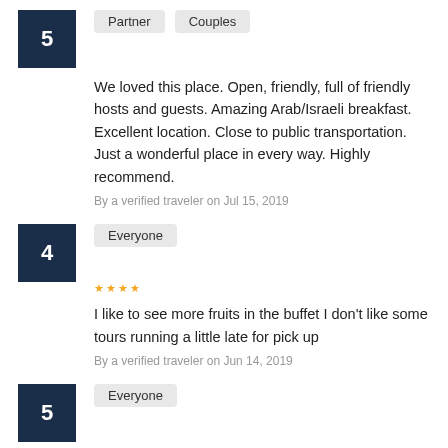5 | Partner Couples
We loved this place. Open, friendly, full of friendly hosts and guests. Amazing Arab/Israeli breakfast. Excellent location. Close to public transportation. Just a wonderful place in every way. Highly recommend.
By a verified traveler on Jul 15, 2019
4 | Everyone
I like to see more fruits in the buffet I don't like some tours running a little late for pick up
By a verified traveler on Jun 14, 2019
5 | Everyone
Great location . Staff very very very helpful . Will return .
By a verified traveler on Jan 10, 2019
5 | Everyone